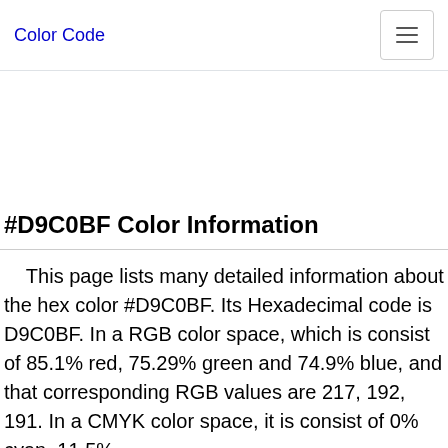Color Code
#D9C0BF Color Information
This page lists many detailed information about the hex color #D9C0BF. Its Hexadecimal code is D9C0BF. In a RGB color space, which is consist of 85.1% red, 75.29% green and 74.9% blue, and that corresponding RGB values are 217, 192, 191. In a CMYK color space, it is consist of 0% cyan, 11.5%